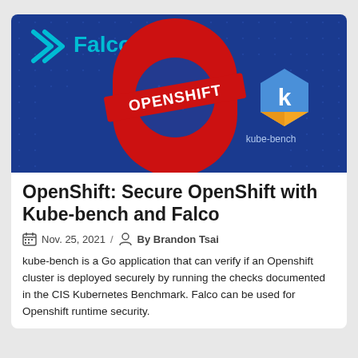[Figure (illustration): Hero image with dark blue background showing the Falco logo (teal chevron/arrow and 'Falco' text) on the left, a large red circular London Underground-style ring with 'OPENSHIFT' text across the middle, and a kube-bench hexagonal gem logo on the right with 'kube-bench' text beneath it.]
OpenShift: Secure OpenShift with Kube-bench and Falco
Nov. 25, 2021 / By Brandon Tsai
kube-bench is a Go application that can verify if an Openshift cluster is deployed securely by running the checks documented in the CIS Kubernetes Benchmark. Falco can be used for Openshift runtime security.